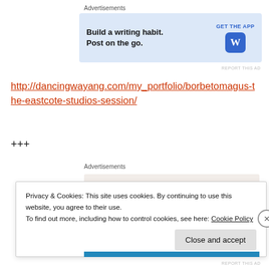Advertisements
[Figure (other): WordPress app advertisement banner: 'Build a writing habit. Post on the go.' with GET THE APP button and WordPress logo]
REPORT THIS AD
http://dancingwayang.com/my_portfolio/borbetomagus-the-eastcote-studios-session/
+++
Advertisements
[Figure (other): Advertisement banner with large bold text 'Business in the front']
Privacy & Cookies: This site uses cookies. By continuing to use this website, you agree to their use.
To find out more, including how to control cookies, see here: Cookie Policy
Close and accept